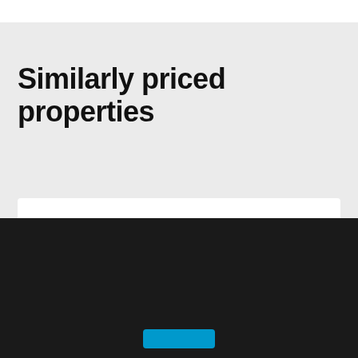Similarly priced properties
By continuing to browse or by clicking “Accept All Cookies,” you agree to the storing of first- and third-party cookies on your device to enhance site navigation, analyse site usage, and assist in our marketing efforts.
› Priv...
[Figure (infographic): Google Rating widget showing 4.8 stars based on 272 reviews, with Google 'G' logo in red/yellow/green/blue colors]